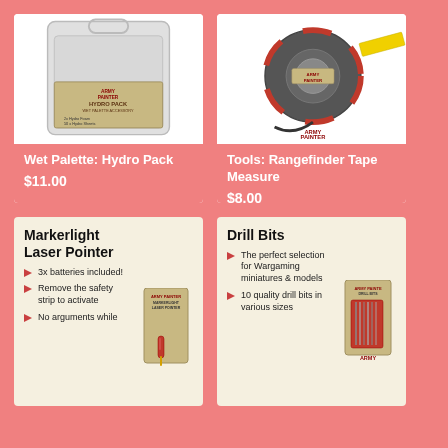[Figure (photo): Army Painter Wet Palette Hydro Pack product in clear plastic packaging with label]
Wet Palette: Hydro Pack
$11.00
[Figure (photo): Army Painter Tools Rangefinder Tape Measure, red and grey device with yellow tape extended]
Tools: Rangefinder Tape Measure
$8.00
[Figure (photo): Army Painter Markerlight Laser Pointer product card with red laser pointer shown]
3x batteries included!
Remove the safety strip to activate
No arguments while
[Figure (photo): Army Painter Drill Bits product in gold/green packaging with drill bits shown]
The perfect selection for Wargaming miniatures & models
10 quality drill bits in various sizes